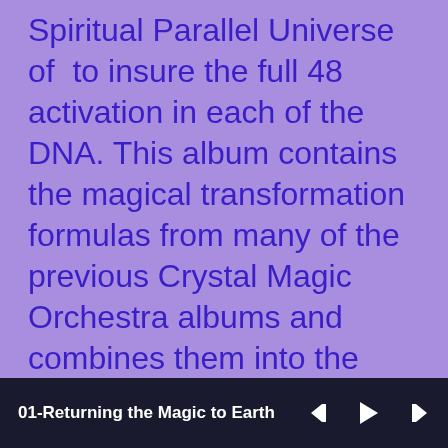Spiritual Parallel Universe of to insure the full 48 activation in each of the DNA. This album contains the magical transformation formulas from many of the previous Crystal Magic Orchestra albums and combines them into the specific activation needed at this time of our Ascension.
01-Returning the Magic to Earth